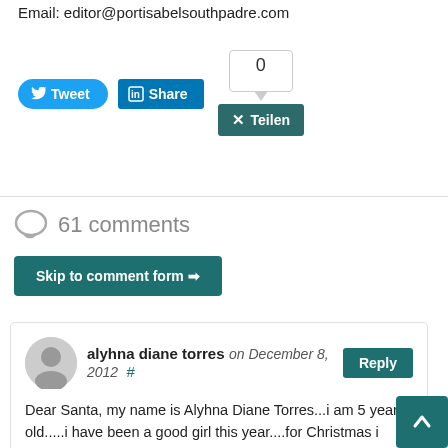Email: editor@portisabelsouthpadre.com
[Figure (screenshot): Social sharing buttons: Tweet (Twitter), Share (LinkedIn), share count box showing 0, and Teilen (Xing) button]
61 comments
Skip to comment form
alyhna diane torres on December 8, 2012 # Reply
Dear Santa, my name is Alyhna Diane Torres...i am 5 years old.....i have been a good girl this year....for Christmas i want a tea party set, a microphone, a karaoke machine, a stage so my mommy and daddy to hear me sing, i want a art set so i can color and paint, stickers, a computer and a lot ...a lot of toys....thank you i will leave you you cookies and milk next to